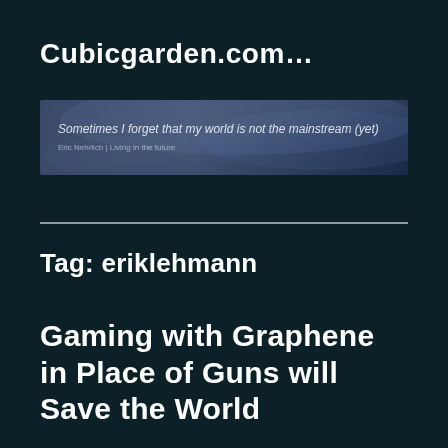Cubicgarden.com…
[Figure (screenshot): Website banner/header image with dark blue gradient background and white text reading 'Sometimes I forget that my world is not the mainstream (yet)' with a smaller subtitle line below.]
Tag: eriklehmann
Gaming with Graphene in Place of Guns will Save the World